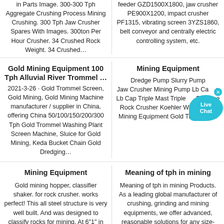in Parts Image. 300-300 Tph Aggregate Crushing Process Mining Crushing. 300 Tph Jaw Crusher Spares With Images. 300ton Per Hour Crusher. 34 Crushed Rock Weight. 34 Crushed…
feeder GZD1500X1800, jaw crusher PE900X1200, impact crusher PF1315, vibrating screen 3YZS1860, belt conveyor and centrally electric controlling system, etc.
Gold Mining Equipment 100 Tph Alluvial River Trommel …
Mining Equipment
2021-3-26 · Gold Trommel Screen, Gold Mining, Gold Mining Machine manufacturer / supplier in China, offering China 50/100/150/200/300 Tph Gold Trommel Washing Plant Screen Machine, Sluice for Gold Mining, Keda Bucket Chain Gold Dredging…
Dredge Pump Slurry Pump Jaw Crusher Mining Pump Lb Cap a Lb Cap Triple Mast Triple Mast Propane Rock Crusher Koehler Wheat Gold Mining Equipment Gold Trommel …
Mining Equipment
Meaning of tph in mining
Gold mining hopper, classifier shaker. for rock crusher. works perfect! This all steel structure is very well built. And was designed to classify rocks for mining. At 6"1" in height, 10"7" in
Meaning of tph in mining Products. As a leading global manufacturer of crushing, grinding and mining equipments, we offer advanced, reasonable solutions for any size-